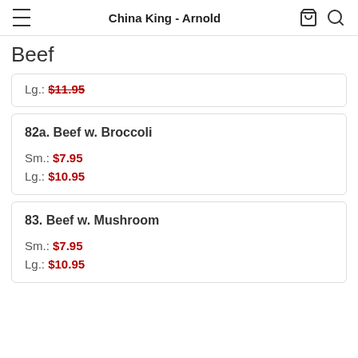China King - Arnold
Beef
Lg.: $11.95 (partial, cropped)
82a. Beef w. Broccoli
Sm.: $7.95
Lg.: $10.95
83. Beef w. Mushroom
Sm.: $7.95
Lg.: $10.95